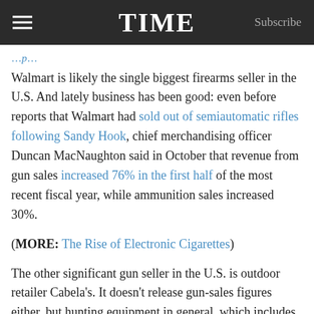TIME  Subscribe
Walmart is likely the single biggest firearms seller in the U.S. And lately business has been good: even before reports that Walmart had sold out of semiautomatic rifles following Sandy Hook, chief merchandising officer Duncan MacNaughton said in October that revenue from gun sales increased 76% in the first half of the most recent fiscal year, while ammunition sales increased 30%.
(MORE: The Rise of Electronic Cigarettes)
The other significant gun seller in the U.S. is outdoor retailer Cabela's. It doesn't release gun-sales figures either, but hunting equipment in general, which includes firearms, made up 41% of the chain's sales in 2011, according to Bloomberg News.
While Walmart may be concerned about a possible assault-weapons ban or other pieces of gun-control legislation from the